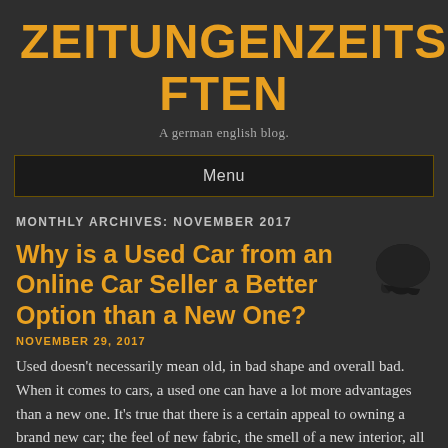ZEITUNGENZEITSCHRIFTEN
A german english blog.
Menu
MONTHLY ARCHIVES: NOVEMBER 2017
Why is a Used Car from an Online Car Seller a Better Option than a New One?
NOVEMBER 29, 2017
Used doesn't necessarily mean old, in bad shape and overall bad. When it comes to cars, a used one can have a lot more advantages than a new one. It's true that there is a certain appeal to owning a brand new car; the feel of new fabric, the smell of a new interior, all the compartments and board, new and untouched… But there is also the price, which is always very high, especially since it's a new or maybe improved model. You do not have the option of...